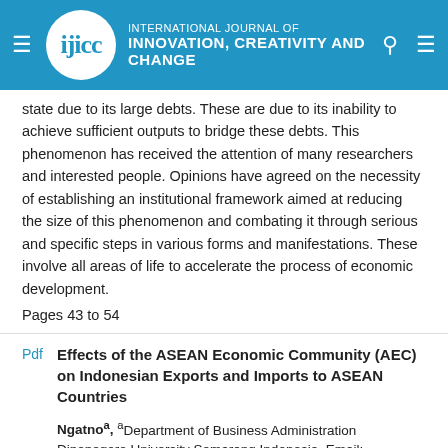INTERNATIONAL JOURNAL OF INNOVATION, CREATIVITY AND CHANGE
state due to its large debts. These are due to its inability to achieve sufficient outputs to bridge these debts. This phenomenon has received the attention of many researchers and interested people. Opinions have agreed on the necessity of establishing an institutional framework aimed at reducing the size of this phenomenon and combating it through serious and specific steps in various forms and manifestations. These involve all areas of life to accelerate the process of economic development. Pages 43 to 54
Effects of the ASEAN Economic Community (AEC) on Indonesian Exports and Imports to ASEAN Countries
Ngatnoᵃ, ᵃDepartment of Business Administration Diponegoro University Semarang Indonesia, Email: ᵃngatno_fisip@yahoo.co.id
The purpose of this study is to evaluate the impact of the ASEAN Economic Community (AEC), which took effect from January 2016, on Indonesia's exports and imports to